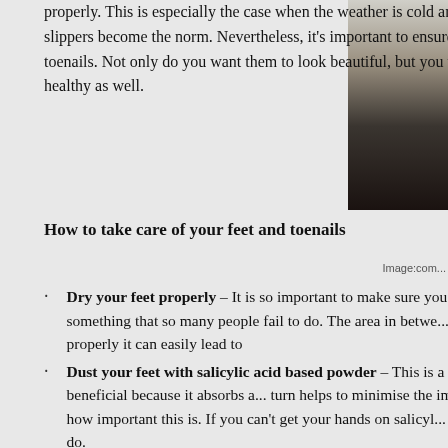properly. This is especially the case when the weather is cold and therefore socks and slippers become the norm. Nevertheless, it's important to ensure you look after your toenails. Not only do you want them to look beautiful, but you want your feet to be healthy as well.
[Figure (photo): Photo of a person wearing dark clothing, partially cropped on the right side of the page]
How to take care of your feet and toenails
Image:com...
Dry your feet properly – It is so important to make sure you dry your feet properly, however this is something that so many people fail to do. The area in between crucial. If you don't dry this space properly it can easily lead to
Dust your feet with salicylic acid based powder – This is a gr... acid based powder is extremely beneficial because it absorbs a... turn helps to minimise the impact of bacteria. When you consid... see how important this is. If you can't get your hands on salicyl... specifically any anti-fungal powder will do.
Scrub your heels – It is also recommended to scrub the heels o... on a daily basis. By doing this you will remove all of the dead s... feet are nice and soft as a result.
Clip and file your toe nails – It is not only important to make...